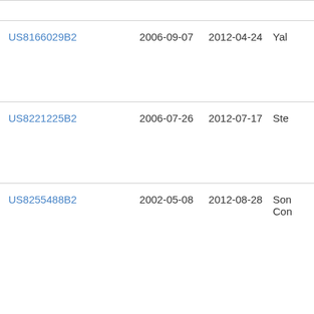| Patent | Filed | Issued | Assignee |
| --- | --- | --- | --- |
| US8166029B2 | 2006-09-07 | 2012-04-24 | Yal |
| US8221225B2 | 2006-07-26 | 2012-07-17 | Ste |
| US8255488B2 | 2002-05-08 | 2012-08-28 | Son Con |